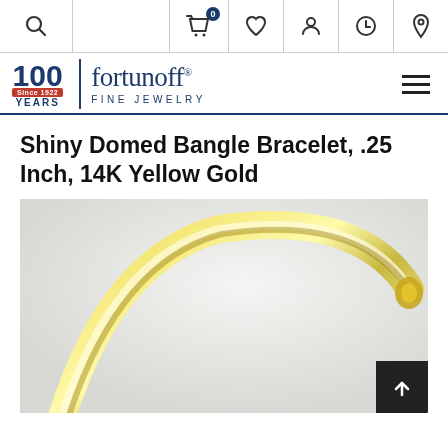[Figure (screenshot): Website header navigation bar with search icon on left and cart, wishlist, account, history, and location icons on right]
[Figure (logo): Fortunoff Fine Jewelry logo with 100 Years Since 1922 badge on left, vertical divider, and 'fortunoff FINE JEWELRY' text on right]
Shiny Domed Bangle Bracelet, .25 Inch, 14K Yellow Gold
[Figure (photo): Close-up photo of a shiny domed gold bangle bracelet in 14K yellow gold on a light grey/white background]